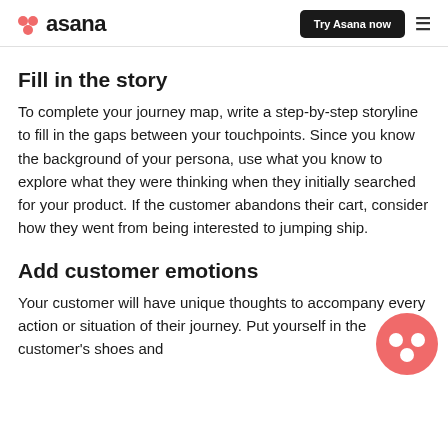asana | Try Asana now
Fill in the story
To complete your journey map, write a step-by-step storyline to fill in the gaps between your touchpoints. Since you know the background of your persona, use what you know to explore what they were thinking when they initially searched for your product. If the customer abandons their cart, consider how they went from being interested to jumping ship.
Add customer emotions
Your customer will have unique thoughts to accompany every action or situation of their journey. Put yourself in the customer's shoes and